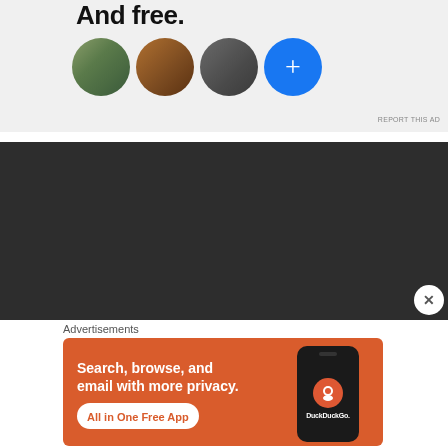[Figure (screenshot): Top advertisement banner with bold text 'And free.' and four circular avatars (three profile photos and one blue plus button), on light gray background]
REPORT THIS AD
[Figure (screenshot): Dark gray/charcoal section with a white close (X) button in bottom right corner]
Advertisements
[Figure (screenshot): DuckDuckGo advertisement on orange background: 'Search, browse, and email with more privacy. All in One Free App' with phone mockup showing DuckDuckGo logo]